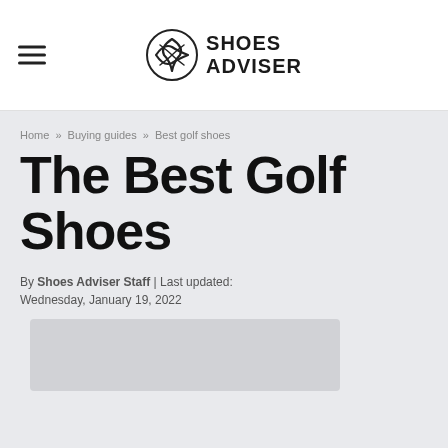SHOES ADVISER
Home » Buying guides » Best golf shoes
The Best Golf Shoes
By Shoes Adviser Staff | Last updated: Wednesday, January 19, 2022
[Figure (other): Placeholder image area for golf shoes article]